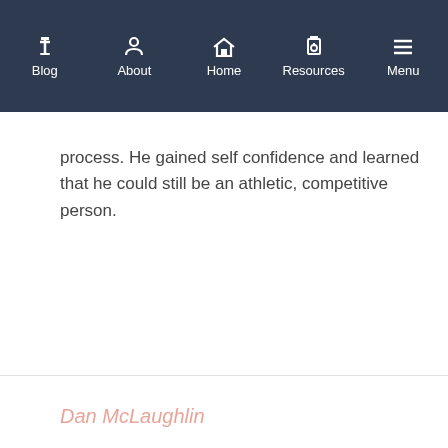Blog | About | Home | Resources | Menu
timing and improving his game. As he did, his mind began to fail. Tim is vocal about the importance of golf to his healing and rehabilitation process. He gained self confidence and learned that he could still be an athletic, competitive person.
Dan McLaughlin